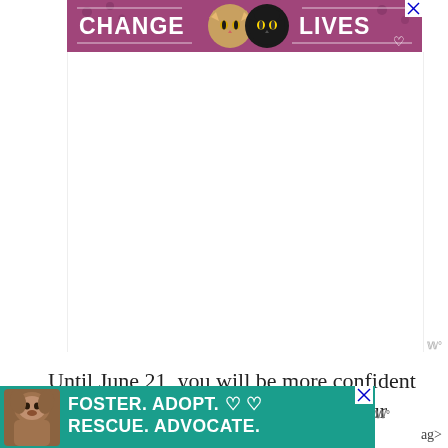[Figure (photo): Advertisement banner with purple/mauve background showing two cat faces and text 'CHANGE LIVES' with a heart icon and close button]
[Figure (photo): Large white/blank content area, likely an advertisement placeholder]
Until June 21, you will be more confident of yourself, your performance, or your re... ob... ag...
[Figure (photo): Advertisement banner with teal background showing a pit bull dog and text 'FOSTER. ADOPT. RESCUE. ADVOCATE.' with heart icons and close button]